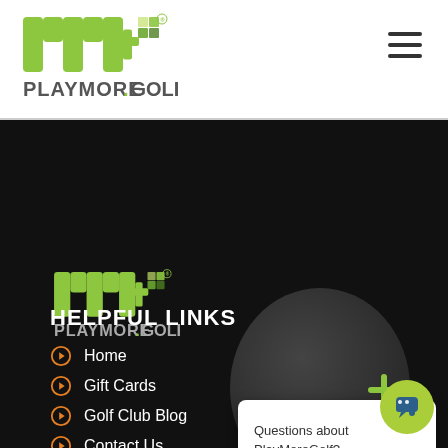[Figure (logo): m+ PLAYMORE.GOLF logo in header, lime green]
[Figure (other): Hamburger menu icon (three horizontal lines) in top right]
[Figure (logo): m+ PLAYMORE.GOLF logo in dark footer section, lime green]
HELPFUL LINKS
Home
Gift Cards
Golf Club Blog
Contact Us
[Figure (other): Chat widget popup with green + icon and text: Questions about PlayMoreGolf? I'm happy to help!]
Questions about PlayMoreGolf? I'm happy to help!